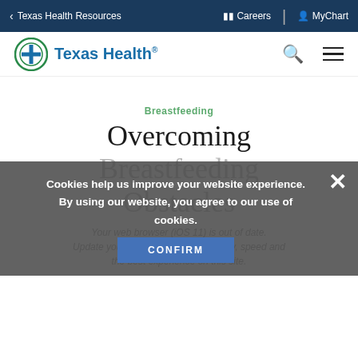< Texas Health Resources   Careers   MyChart
[Figure (logo): Texas Health logo with cross icon and text 'Texas Health']
Breastfeeding
Overcoming Breastfeeding Obstacles
Cookies help us improve your website experience. By using our website, you agree to our use of cookies.
Your web browser (iOS 11) is out of date. Update your browser for more security, speed and the best experience on this site.
CONFIRM